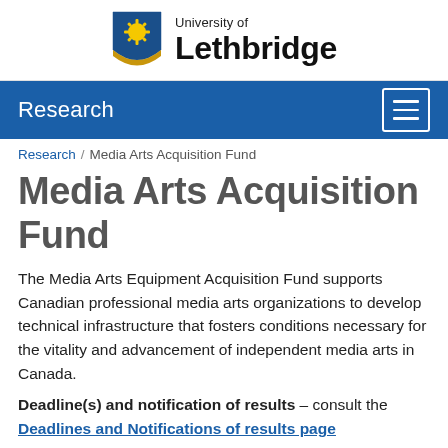[Figure (logo): University of Lethbridge logo with shield crest and wordmark]
Research
Research / Media Arts Acquisition Fund
Media Arts Acquisition Fund
The Media Arts Equipment Acquisition Fund supports Canadian professional media arts organizations to develop technical infrastructure that fosters conditions necessary for the vitality and advancement of independent media arts in Canada.
Deadline(s) and notification of results – consult the Deadlines and Notifications of results page